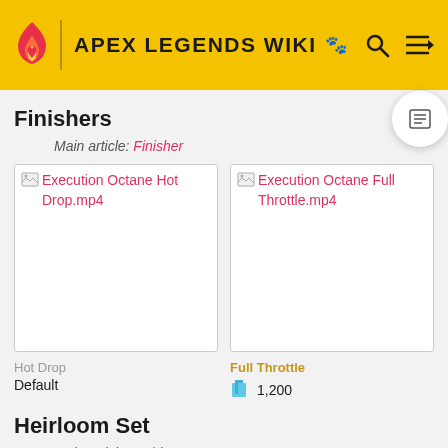APEX LEGENDS WIKI
Finishers
Main article: Finisher
[Figure (screenshot): Execution Octane Hot Drop.mp4 video thumbnail placeholder]
[Figure (screenshot): Execution Octane Full Throttle.mp4 video thumbnail placeholder]
Hot Drop
Default
Full Throttle
1,200
Heirloom Set
Main article: Heirloom
[Figure (photo): Heirloom image placeholder with broken image icon]